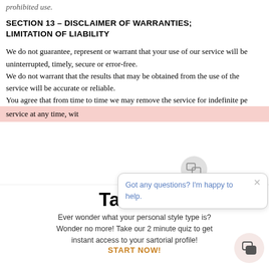prohibited use.
SECTION 13 – DISCLAIMER OF WARRANTIES; LIMITATION OF LIABILITY
We do not guarantee, represent or warrant that your use of our service will be uninterrupted, timely, secure or error-free.
We do not warrant that the results that may be obtained from the use of the service will be accurate or reliable.
You agree that from time to time we may remove the service for indefinite pe
service at any time, wit
Take ou
Ever wonder what your personal style type is? Wonder no more! Take our 2 minute quiz to get instant access to your sartorial profile!
START NOW!
[Figure (screenshot): Chat popup overlay with icon and text: 'Got any questions? I'm happy to help.' with close button, and chat button at bottom right]